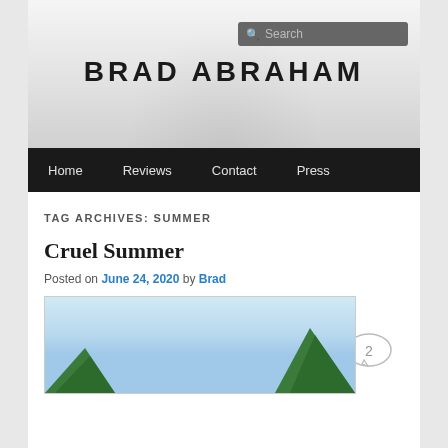BRAD ABRAHAM
TAG ARCHIVES: SUMMER
Cruel Summer
Posted on June 24, 2020 by Brad
[Figure (photo): Landscape photo with blue sky and green mountains/hills at bottom corners]